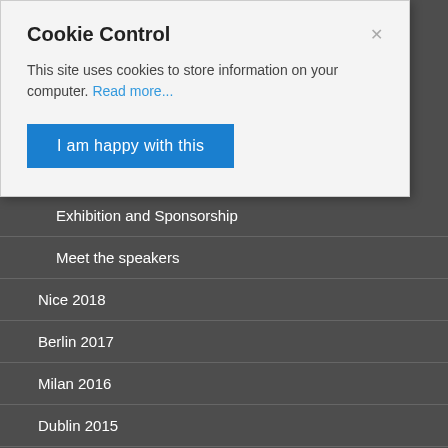Cookie Control
This site uses cookies to store information on your computer. Read more...
I am happy with this
Exhibition and Sponsorship
Meet the speakers
Nice 2018
Berlin 2017
Milan 2016
Dublin 2015
Barcelona 2014
Belgrade 2013
Vienna 2012